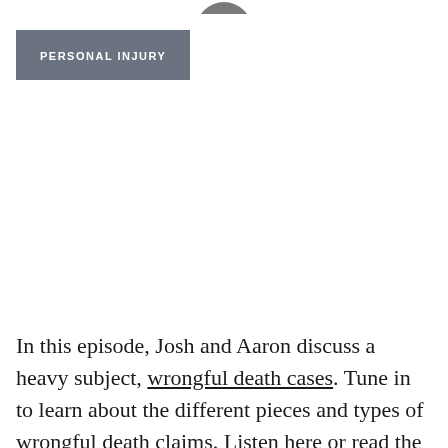[Figure (logo): Partial circular/rounded logo graphic at top center, gray colored, cropped]
PERSONAL INJURY
In this episode, Josh and Aaron discuss a heavy subject, wrongful death cases. Tune in to learn about the different pieces and types of wrongful death claims. Listen here or read the transcript